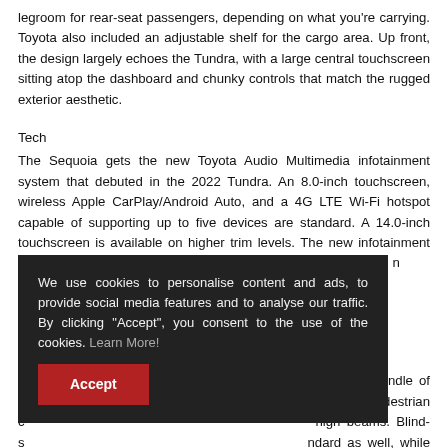legroom for rear-seat passengers, depending on what you're carrying. Toyota also included an adjustable shelf for the cargo area. Up front, the design largely echoes the Tundra, with a large central touchscreen sitting atop the dashboard and chunky controls that match the rugged exterior aesthetic.
Tech
The Sequoia gets the new Toyota Audio Multimedia infotainment system that debuted in the 2022 Tundra. An 8.0-inch touchscreen, wireless Apple CarPlay/Android Auto, and a 4G LTE Wi-Fi hotspot capable of supporting up to five devices are standard. A 14.0-inch touchscreen is available on higher trim levels. The new infotainment system also supports Amazon Music, Apple Music, cloud-based n
Sense 2.5 bundle of d ing (with pedestrian c high beams. Blind- s ndard as well, while a rview camera mirror should make parking this big SUV easier.
[Figure (other): Cookie consent overlay popup with dark background. Text reads: 'We use cookies to personalise content and ads, to provide social media features and to analyse our traffic. By clicking "Accept", you consent to the use of the cookies. Learn More!' with an Accept button in red.]